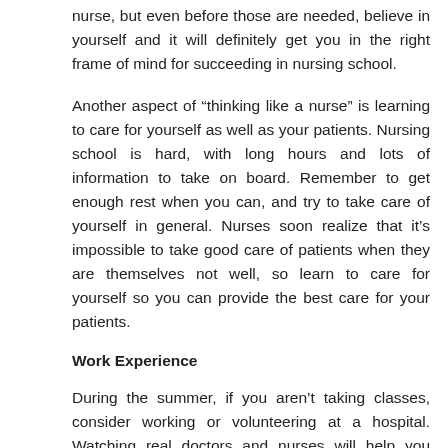nurse, but even before those are needed, believe in yourself and it will definitely get you in the right frame of mind for succeeding in nursing school.
Another aspect of “thinking like a nurse” is learning to care for yourself as well as your patients. Nursing school is hard, with long hours and lots of information to take on board. Remember to get enough rest when you can, and try to take care of yourself in general. Nurses soon realize that it’s impossible to take good care of patients when they are themselves not well, so learn to care for yourself so you can provide the best care for your patients.
Work Experience
During the summer, if you aren’t taking classes, consider working or volunteering at a hospital. Watching real doctors and nurses will help you understand what you are learning and help you decide if the field is truly for you. Plus, you’ll gain some valuable insight into what it takes to really be a nurse.